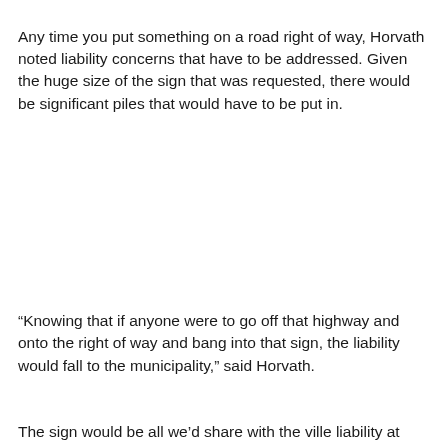Any time you put something on a road right of way, Horvath noted liability concerns that have to be addressed. Given the huge size of the sign that was requested, there would be significant piles that would have to be put in.
“Knowing that if anyone were to go off that highway and onto the right of way and bang into that sign, the liability would fall to the municipality,” said Horvath.
The sign would be all we'd share with theville liability at Horvath